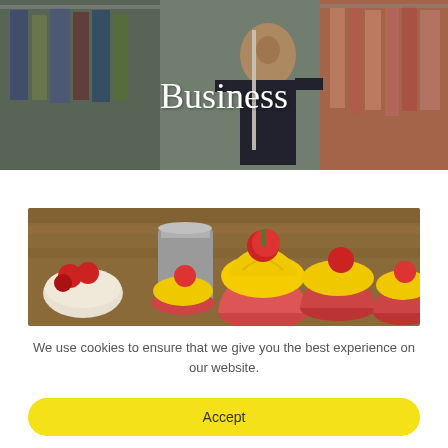[Figure (photo): Hero banner photo of a woman smiling in a clothing store surrounded by racks of colorful garments]
Business
[Figure (photo): Photo of cupcakes with yellow frosting and red cherries on top arranged on a wooden surface]
We use cookies to ensure that we give you the best experience on our website.
Accept